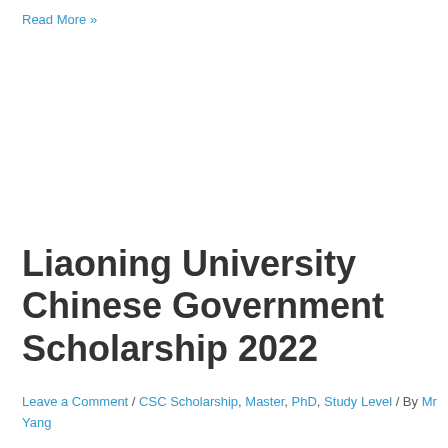Read More »
Liaoning University Chinese Government Scholarship 2022
Leave a Comment / CSC Scholarship, Master, PhD, Study Level / By Mr Yang